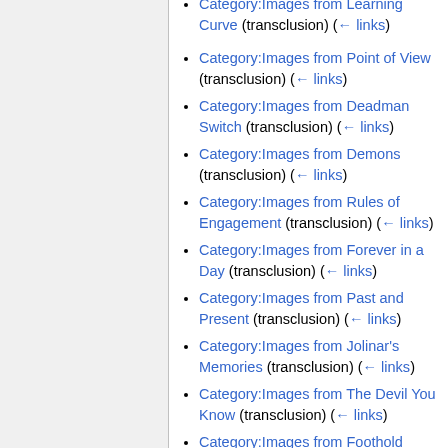Category:Images from Learning Curve (transclusion) (← links)
Category:Images from Point of View (transclusion) (← links)
Category:Images from Deadman Switch (transclusion) (← links)
Category:Images from Demons (transclusion) (← links)
Category:Images from Rules of Engagement (transclusion) (← links)
Category:Images from Forever in a Day (transclusion) (← links)
Category:Images from Past and Present (transclusion) (← links)
Category:Images from Jolinar's Memories (transclusion) (← links)
Category:Images from The Devil You Know (transclusion) (← links)
Category:Images from Foothold (transclusion) (← links)